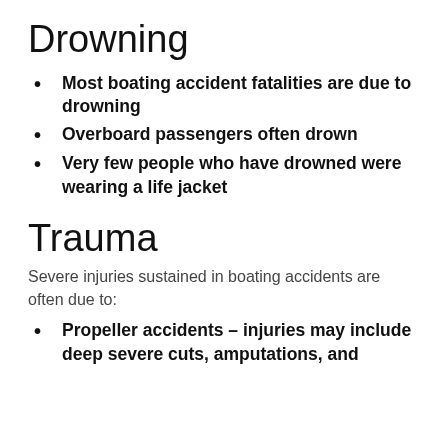Drowning
Most boating accident fatalities are due to drowning
Overboard passengers often drown
Very few people who have drowned were wearing a life jacket
Trauma
Severe injuries sustained in boating accidents are often due to:
Propeller accidents – injuries may include deep severe cuts, amputations, and